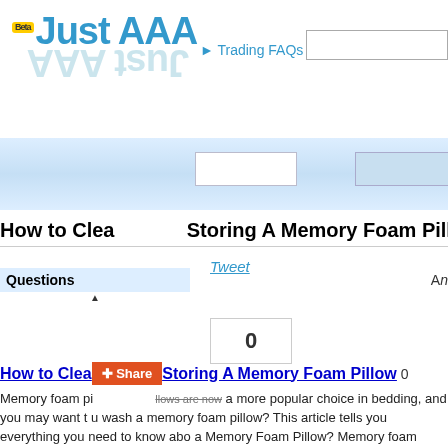Just AAA — Beta — Trading FAQs
How to Clea ... Storing A Memory Foam Pillow related questions
Tweet
Questions
0
How to Clea ... Storing A Memory Foam Pillow  0
Memory foam pillows are now a more popular choice in bedding, and you may want to know how to wash a memory foam pillow? This article tells you everything you need to know about How to Clean a Memory Foam Pillow? Memory foam pillows are made from a type of foam that mim... The foam is made up of millions of tiny air bubbles that make up the pillow. These bubbles provide comfort. That's why these pillows are great for side sleepers. You won't have to fight the Best Memory Foam Pillow? There are several things to consider when you choose a pillow for your bed. Memory foam pillows vary in size, so you'll want to find one that is the same size ... n feel. You should be able to feel the difference between memory foam and other ma... u can feel the pillows before making a purchase. Look at the memory foam topper ar... er feel, but they may be less durable. A firm topper is not as soft but it is more durable... you can choose one that you prefer. Look at the pattern of memory foam. If you are a... ppers that have some sort of grid to stop your shoulders from sinking into the mattre...